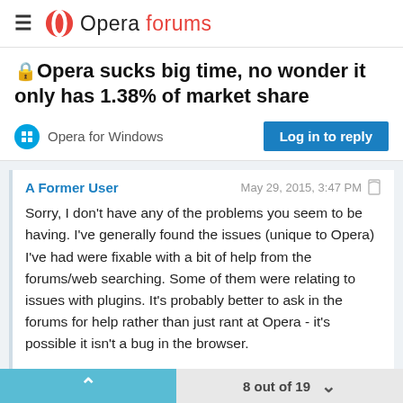Opera forums
🔒Opera sucks big time, no wonder it only has 1.38% of market share
Opera for Windows
Log in to reply
A Former User    May 29, 2015, 3:47 PM
Sorry, I don't have any of the problems you seem to be having. I've generally found the issues (unique to Opera) I've had were fixable with a bit of help from the forums/web searching. Some of them were relating to issues with plugins. It's probably better to ask in the forums for help rather than just rant at Opera - it's possible it isn't a bug in the browser.
8 out of 19